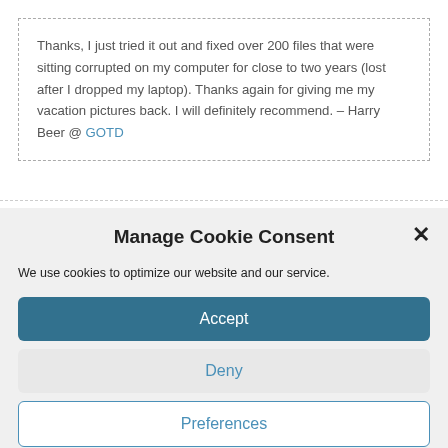Thanks, I just tried it out and fixed over 200 files that were sitting corrupted on my computer for close to two years (lost after I dropped my laptop). Thanks again for giving me my vacation pictures back. I will definitely recommend. – Harry Beer @ GOTD
Manage Cookie Consent
We use cookies to optimize our website and our service.
Accept
Deny
Preferences